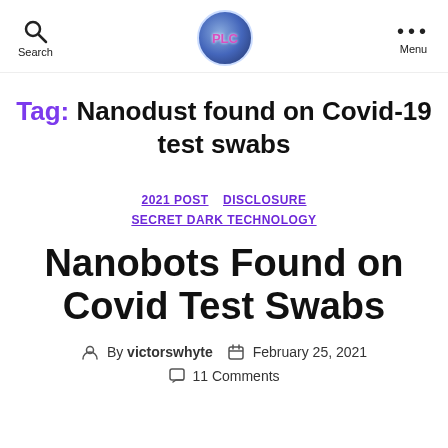Search | PLC logo | Menu
Tag: Nanodust found on Covid-19 test swabs
2021 POST  DISCLOSURE  SECRET DARK TECHNOLOGY
Nanobots Found on Covid Test Swabs
By victorswhyte  February 25, 2021  11 Comments